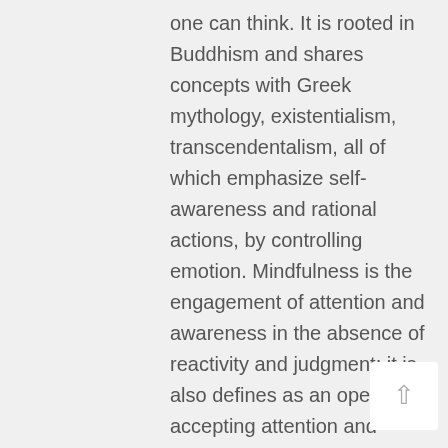one can think. It is rooted in Buddhism and shares concepts with Greek mythology, existentialism, transcendentalism, all of which emphasize self-awareness and rational actions, by controlling emotion. Mindfulness is the engagement of attention and awareness in the absence of reactivity and judgment; it is also defines as an open accepting attention and awareness of internal and external emotions.  Often, mindfulness refers to "Mindfulness Based Stress Reduction technique", developed by Jon Kabat-Zinn at the University of Massachusetts. It is a technique clinically standardized to treat a variety of health issues.  I am